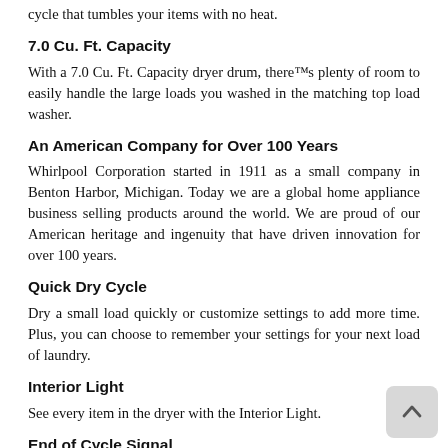cycle that tumbles your items with no heat.
7.0 Cu. Ft. Capacity
With a 7.0 Cu. Ft. Capacity dryer drum, there™s plenty of room to easily handle the large loads you washed in the matching top load washer.
An American Company for Over 100 Years
Whirlpool Corporation started in 1911 as a small company in Benton Harbor, Michigan. Today we are a global home appliance business selling products around the world. We are proud of our American heritage and ingenuity that have driven innovation for over 100 years.
Quick Dry Cycle
Dry a small load quickly or customize settings to add more time. Plus, you can choose to remember your settings for your next load of laundry.
Interior Light
See every item in the dryer with the Interior Light.
End of Cycle Signal